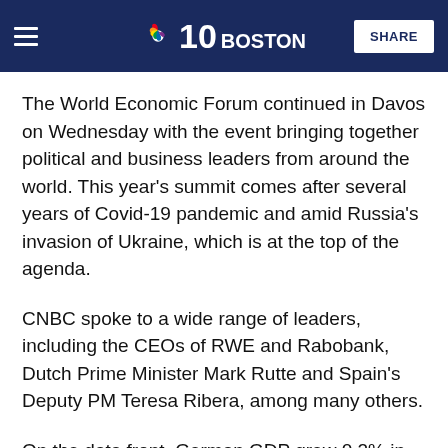NBC 10 Boston — SHARE
The World Economic Forum continued in Davos on Wednesday with the event bringing together political and business leaders from around the world. This year's summit comes after several years of Covid-19 pandemic and amid Russia's invasion of Ukraine, which is at the top of the agenda.
CNBC spoke to a wide range of leaders, including the CEOs of RWE and Rabobank, Dutch Prime Minister Mark Rutte and Spain's Deputy PM Teresa Ribera, among many others.
On the data front, German GDP grew 0.2% in the first quarter of 2022, the Federal Statistics Office said on Wednesday, as Europe's largest economy narrowly avoided a recession on